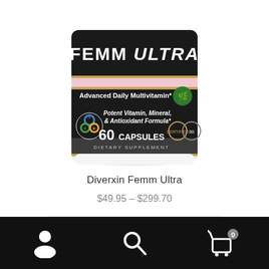[Figure (photo): Diverxin Femm Ultra supplement bottle — black and pink label showing 'FEMM ULTRA', 'Advanced Daily Multivitamin*', 'Potent Vitamin, Mineral, & Antioxidant Formula*', '60 CAPSULES DIETARY SUPPLEMENT']
Diverxin Femm Ultra
$49.95 – $299.70
Select options